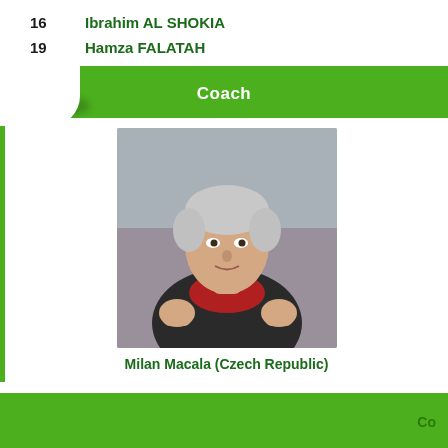16  Ibrahim AL SHOKIA
19  Hamza FALATAH
Coach
[Figure (photo): Photo of Milan Macala, an older man with gray hair and clenched fists, wearing a dark jacket and red scarf, likely on a sports sideline.]
Milan Macala (Czech Republic)